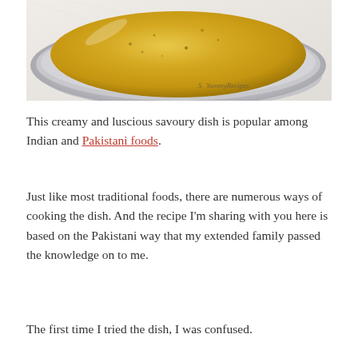[Figure (photo): Close-up photo of a creamy yellow/golden savoury dish in a silver/metal bowl, with a watermark reading 'SoYummyRecipes' visible in the bottom right]
This creamy and luscious savoury dish is popular among Indian and Pakistani foods.
Just like most traditional foods, there are numerous ways of cooking the dish. And the recipe I'm sharing with you here is based on the Pakistani way that my extended family passed the knowledge on to me.
The first time I tried the dish, I was confused.